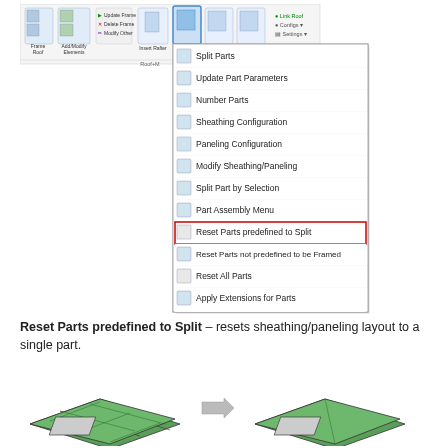[Figure (screenshot): Revit/structural framing ribbon menu showing the Split Parts dropdown with 'Reset Parts predefined to Split' highlighted with a red border. Menu items include: Split Parts, Update Part Parameters, Number Parts, Sheathing Configuration, Paneling Configuration, Modify Sheathing/Paneling, Split Part by Selection, Part Assembly Menu, Reset Parts predefined to Split (highlighted), Reset Parts not predefined to be Framed, Reset All Parts, Apply Extensions for Parts.]
Reset Parts predefined to Split – resets sheathing/paneling layout to a single part.
[Figure (illustration): Isometric illustration showing a roof/wall panel split into multiple parts (left) transforming via an arrow into a single unified panel (right).]